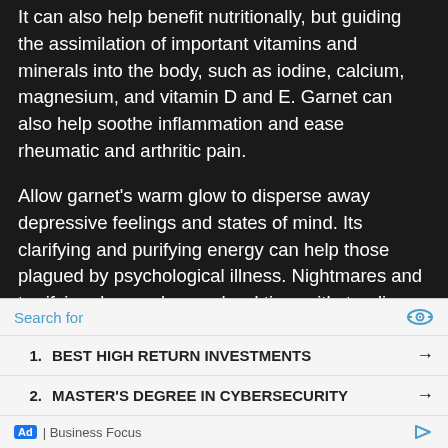It can also help benefit nutritionally, but guiding the assimilation of important vitamins and minerals into the body, such as iodine, calcium, magnesium, and vitamin D and E. Garnet can also help soothe inflammation and ease rheumatic and arthritic pain.
Allow garnet's warm glow to disperse away depressive feelings and states of mind. Its clarifying and purifying energy can help those plagued by psychological illness. Nightmares and terrifying dreams have a hard time withstanding the light of garnet's fire.
Garnet is a balancing and steadying stone, helping our stability take root to prevent fears and insecurities from
[Figure (infographic): Advertisement bar at bottom: search field with 'Search for', two sponsored links (1. BEST HIGH RETURN INVESTMENTS, 2. MASTER'S DEGREE IN CYBERSECURITY), footer with 'Ad | Business Focus']